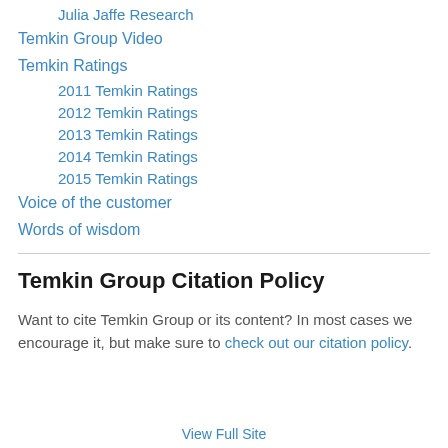Julia Jaffe Research
Temkin Group Video
Temkin Ratings
2011 Temkin Ratings
2012 Temkin Ratings
2013 Temkin Ratings
2014 Temkin Ratings
2015 Temkin Ratings
Voice of the customer
Words of wisdom
Temkin Group Citation Policy
Want to cite Temkin Group or its content? In most cases we encourage it, but make sure to check out our citation policy.
View Full Site